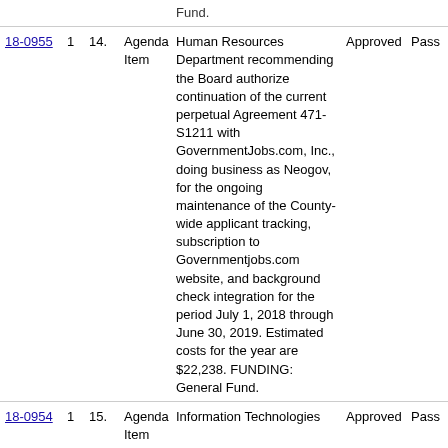| ID | # | Item# | Type | Description | Action | Vote |
| --- | --- | --- | --- | --- | --- | --- |
|  |  |  |  | Fund. |  |  |
| 18-0955 | 1 | 14. | Agenda Item | Human Resources Department recommending the Board authorize continuation of the current perpetual Agreement 471-S1211 with GovernmentJobs.com, Inc., doing business as Neogov, for the ongoing maintenance of the County-wide applicant tracking, subscription to Governmentjobs.com website, and background check integration for the period July 1, 2018 through June 30, 2019. Estimated costs for the year are $22,238. FUNDING: General Fund. | Approved | Pass |
| 18-0954 | 1 | 15. | Agenda Item | Information Technologies | Approved | Pass |